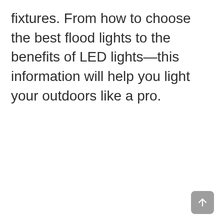fixtures. From how to choose the best flood lights to the benefits of LED lights—this information will help you light your outdoors like a pro.